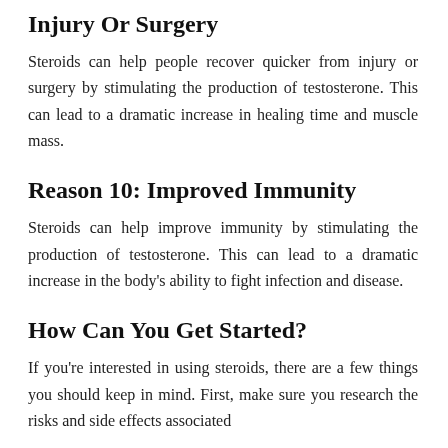Injury Or Surgery
Steroids can help people recover quicker from injury or surgery by stimulating the production of testosterone. This can lead to a dramatic increase in healing time and muscle mass.
Reason 10: Improved Immunity
Steroids can help improve immunity by stimulating the production of testosterone. This can lead to a dramatic increase in the body's ability to fight infection and disease.
How Can You Get Started?
If you're interested in using steroids, there are a few things you should keep in mind. First, make sure you research the risks and side effects associated